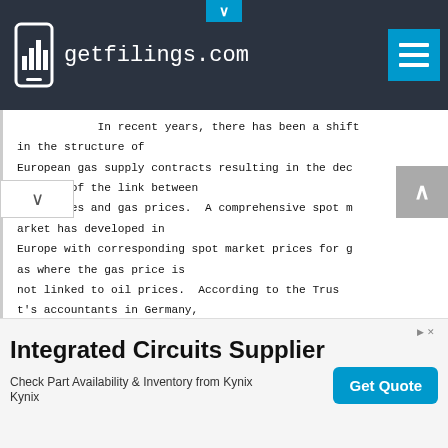getfilings.com
In recent years, there has been a shift in the structure of European gas supply contracts resulting in the decoupling of the link between oil prices and gas prices.  A comprehensive spot market has developed in Europe with corresponding spot market prices for gas where the gas price is not linked to oil prices.  According to the Trust's accountants in Germany, gas prices, in the overwhelming majority of contracts are linked to spot market prices on a specific exchange with a plus o
[Figure (screenshot): Advertisement banner for Integrated Circuits Supplier - Kynix. Shows title 'Integrated Circuits Supplier', subtext 'Check Part Availability & Inventory from Kynix', and a 'Get Quote' button.]